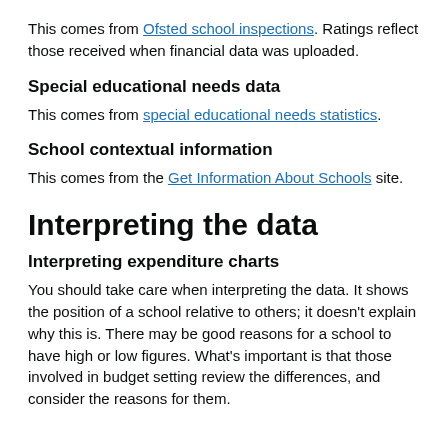This comes from Ofsted school inspections. Ratings reflect those received when financial data was uploaded.
Special educational needs data
This comes from special educational needs statistics.
School contextual information
This comes from the Get Information About Schools site.
Interpreting the data
Interpreting expenditure charts
You should take care when interpreting the data. It shows the position of a school relative to others; it doesn't explain why this is. There may be good reasons for a school to have high or low figures. What's important is that those involved in budget setting review the differences, and consider the reasons for them.